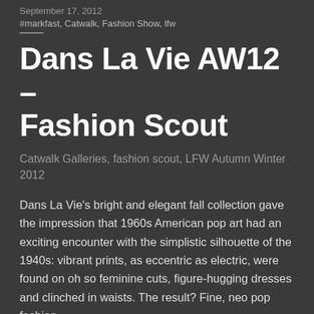September 17, 2012
#markfast, Catwalk, Fashion Show, lfw
Dans La Vie AW12 – Fashion Scout
Catwalk Galleries, fashion scout, LFW Autumn Winter 2012
Dans La Vie's bright and elegant fall collection gave the impression that 1960s American pop art had an exciting encounter with the simplistic silhouette of the 1940s: vibrant prints, as eccentric as electric, were found on oh so feminine cuts, figure-hugging dresses and clinched in waists. The result? Fine, neo pop fashion.